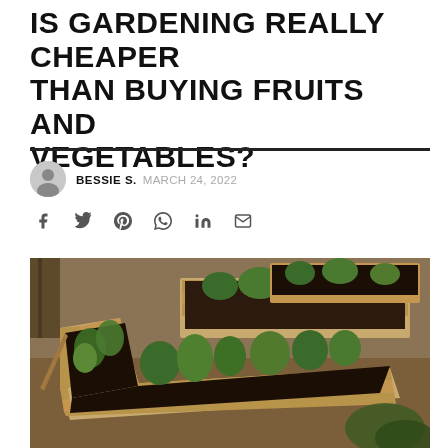IS GARDENING REALLY CHEAPER THAN BUYING FRUITS AND VEGETABLES?
BESSIE S.   MARCH 24, 2022
[Figure (other): Social media share icons: Facebook, Twitter, Pinterest, WhatsApp, LinkedIn, Email]
[Figure (photo): Raised garden beds made of wood planks filled with dark soil and green vegetable plants, set on a gravel/mulch surface]